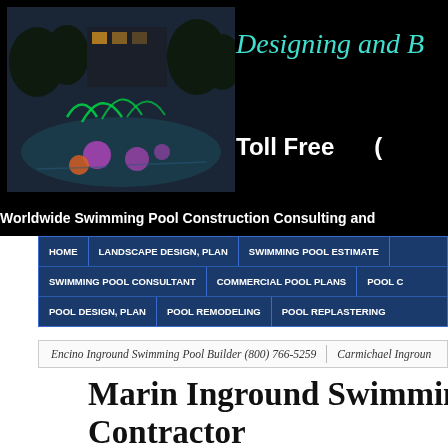[Figure (photo): Night-time illuminated swimming pool with colorful lights and water features, dark background with trees]
Designing and B
Toll Free  (
Worldwide Swimming Pool Construction Consulting and
HOME | LANDSCAPE DESIGN, PLAN | SWIMMING POOL ESTIMATE
SWIMMING POOL CONSULTANT | COMMERCIAL POOL PLANS | POOL C
POOL DESIGN, PLAN | POOL REMODELING | POOL REPLASTERING
Encino Inground Swimming Pool Builder (800) 766-5259   Carmichael Ingroun
Marin Inground Swimming P    Contractor